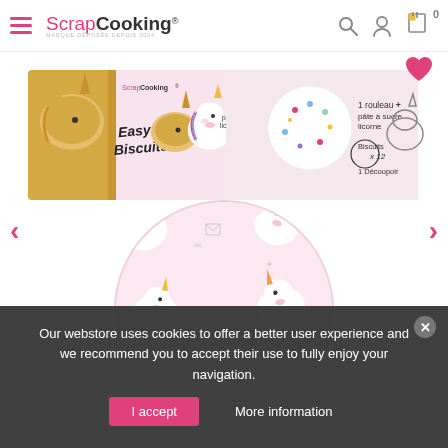ScrapCooking® — navigation header with hamburger menu, search, user, cart (0), and heart icons
[Figure (photo): ScrapCooking Easy Biscuits unicorn kit product box — rectangular pink box with unicorn-themed sugar dough roll kit, showing '1 rouleau pâte à sucre licorne', 'Biscuits x 12', '1 Découpoir'. Below the box is a large circular pink rolling pin mat decorated with colorful cartoon unicorn heads.]
Our webstore uses cookies to offer a better user experience and we recommend you to accept their use to fully enjoy your navigation.
I accept
More information